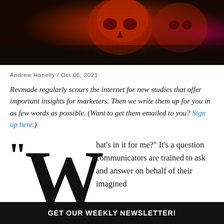[Figure (photo): Dark background header image with orange/red glowing skull or face figure and teal/green elements, with pink highlight on right side]
Andrew Hanelly / Oct 06, 2021
Revmade regularly scours the internet for new studies that offer important insights for marketers. Then we write them up for you in as few words as possible. (Want to get them emailed to you? Sign up here.)
“What’s in it for me?” It’s a question communicators are trained to ask and answer on behalf of their imagined
GET OUR WEEKLY NEWSLETTER!